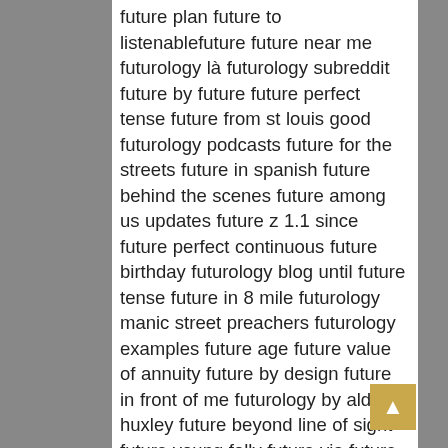future plan future to listenablefuture future near me futurology là futurology subreddit future by future future perfect tense future from st louis good futurology podcasts future for the streets future in spanish future behind the scenes future among us updates future z 1.1 since future perfect continuous future birthday futurology blog until future tense future in 8 mile futurology manic street preachers futurology examples future age future value of annuity future by design future in front of me futurology by aldous huxley future beyond line of sight future young folly future via future among us meme futurology novel future by future future pro basketball goals future class contra distant future opposite of future made of virtual insanity futurology tracklist futurology magazine future in latin future against violence future xbox games future hendrix future gif future of next-generation sequencing for life sciences future break even point before future tense future near sentence futurology trends futurology documentary future engineers future zahir wilburn